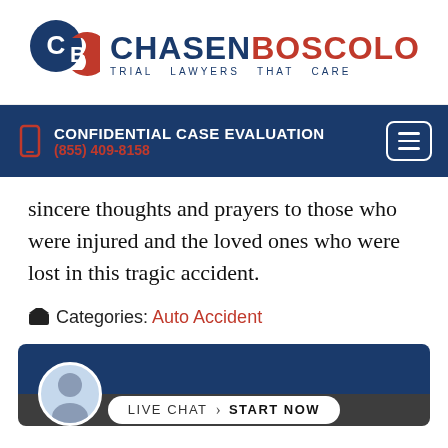[Figure (logo): Chasen Boscolo Trial Lawyers That Care logo with CB circular emblem]
CONFIDENTIAL CASE EVALUATION
(855) 409-8158
sincere thoughts and prayers to those who were injured and the loved ones who were lost in this tragic accident.
Categories: Auto Accident
[Figure (screenshot): Blue card section with attorney photo and Live Chat Start Now pill button at bottom]